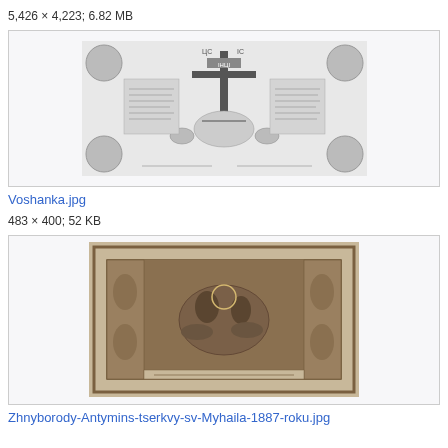5,426 × 4,223; 6.82 MB
[Figure (illustration): Historical religious engraving showing a crucifixion scene with figures around a cross and decorative corner elements, black and white]
Voshanka.jpg
483 × 400; 52 KB
[Figure (illustration): Historical religious engraving showing figures in an ornate bordered frame with decorative floral surrounds, sepia/dark tones]
Zhnyborody-Antymins-tserkvy-sv-Myhaila-1887-roku.jpg